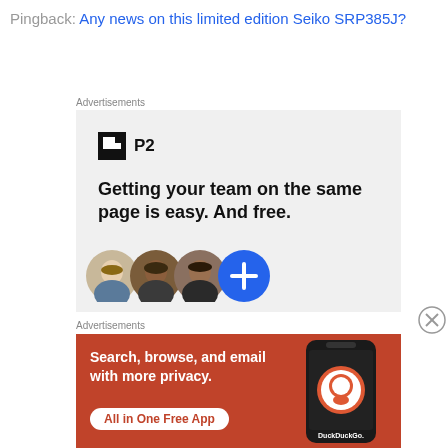Pingback: Any news on this limited edition Seiko SRP385J?
Advertisements
[Figure (infographic): P2 advertisement: logo with P2 branding, tagline 'Getting your team on the same page is easy. And free.' with circular avatar photos and a blue plus button]
Advertisements
[Figure (infographic): DuckDuckGo advertisement on orange/red background: 'Search, browse, and email with more privacy. All in One Free App' with phone showing DuckDuckGo logo]